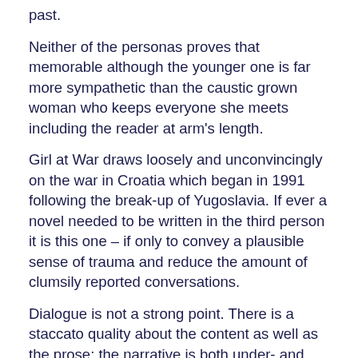past.
Neither of the personas proves that memorable although the younger one is far more sympathetic than the caustic grown woman who keeps everyone she meets including the reader at arm's length.
Girl at War draws loosely and unconvincingly on the war in Croatia which began in 1991 following the break-up of Yugoslavia. If ever a novel needed to be written in the third person it is this one – if only to convey a plausible sense of trauma and reduce the amount of clumsily reported conversations.
Dialogue is not a strong point. There is a staccato quality about the content as well as the prose; the narrative is both under- and over-written; no mean feat and one that makes it impossible to engage with the story.
The opening section of the book is the best and the passage quoted on the back jacket is taken from the most dramatic sequence. But Sara Novic has a flat prose style. Her novel was written while she was completing a creative writing course at Columbia University and it reads as an assignment. It is laboured and predictable and even Novic's